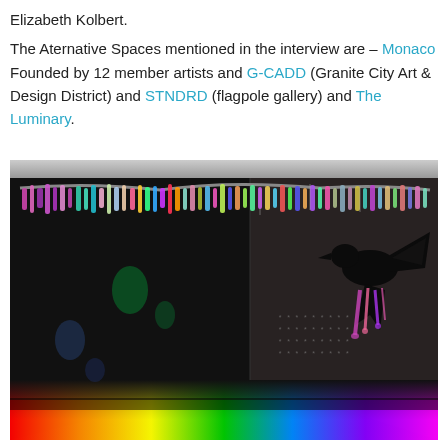Elizabeth Kolbert.

The Aternative Spaces mentioned in the interview are – Monaco Founded by 12 member artists and G-CADD (Granite City Art & Design District) and STNDRD (flagpole gallery) and The Luminary.
[Figure (photo): Dark art installation photograph showing a room with black walls and a colorful chandelier-like hanging installation along the ceiling. A black bird silhouette with colorful dripping paint is on the right wall. Rainbow light projection on the floor.]